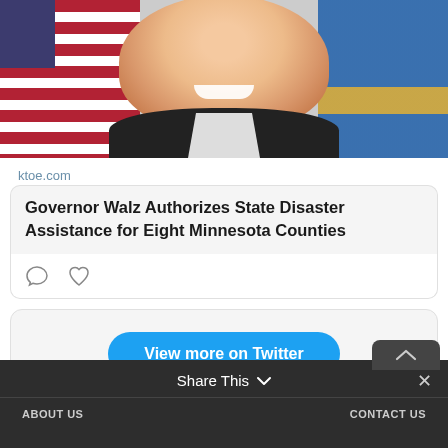[Figure (photo): Portrait photo of Governor Walz with American flag on left and Minnesota state flag on right in background, wearing dark suit]
ktoe.com
Governor Walz Authorizes State Disaster Assistance for Eight Minnesota Counties
[Figure (other): Comment icon and heart/like icon in card action bar]
View more on Twitter
Learn more about privacy on Twitter
Share This  ×  ABOUT US  CONTACT US